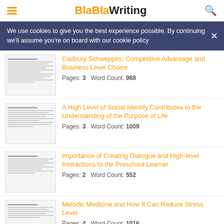BlaBlaWriting
We use cookies to give you the best experience possible. By continuing we'll assume you're on board with our cookie policy
Cadbury Schweppes: Competitive Advantage and Business Level Choice — Pages: 3  Word Count: 968
A High Level of Social Identity Contributes to the Understanding of the Purpose of Life — Pages: 3  Word Count: 1009
Importance of Creating Dialogue and High-level Interactions to the Preschool Learner — Pages: 2  Word Count: 552
Melodic Medicine and How It Can Reduce Stress Level — Pages: 4  Word Count: 1016